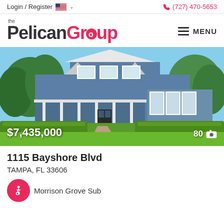Login / Register  (727) 470-5653
[Figure (logo): The Pelican Group real estate logo with MENU hamburger button]
[Figure (photo): Exterior photo of large two-story craftsman home at 1115 Bayshore Blvd with manicured hedges and green lawn]
1115 Bayshore Blvd
TAMPA, FL 33606
Morrison Grove Sub